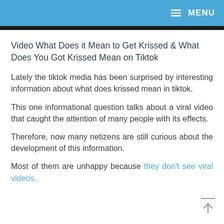MENU
Video What Does it Mean to Get Krissed & What Does You Got Krissed Mean on Tiktok
Lately the tiktok media has been surprised by interesting information about what does krissed mean in tiktok.
This one informational question talks about a viral video that caught the attention of many people with its effects.
Therefore, now many netizens are still curious about the development of this information.
Most of them are unhappy because they don't see viral videos.